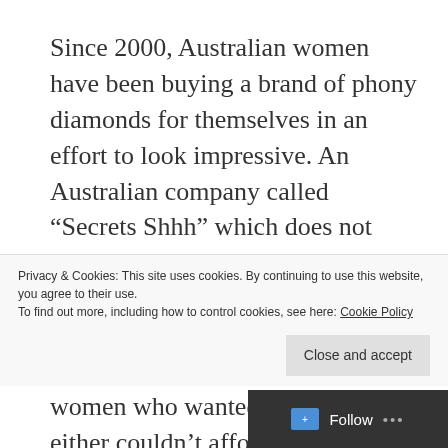Since 2000, Australian women have been buying a brand of phony diamonds for themselves in an effort to look impressive. An Australian company called “Secrets Shhh” which does not pretend to be anything but pretentious began to ply its bling trade in the town of Noosa. It decided to cater to the whims of women who wanted diamonds but either couldn’t afford the real thing or had no man to buy a genuine bauble for them. The popularity
Privacy & Cookies: This site uses cookies. By continuing to use this website, you agree to their use.
To find out more, including how to control cookies, see here: Cookie Policy
Close and accept
Follow